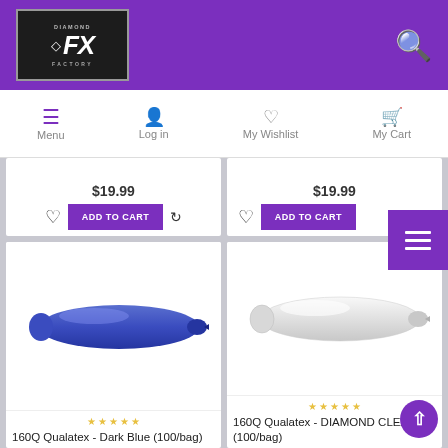Diamond FX Factory - ecommerce header with logo and search icon
[Figure (screenshot): Diamond FX Factory logo with diamond icon and FX text on dark background]
Menu | Log in | My Wishlist | My Cart navigation bar
$19.99
$19.99
ADD TO CART
ADD TO CART
[Figure (photo): 160Q Qualatex Dark Blue balloon (elongated blue balloon shape)]
[Figure (photo): 160Q Qualatex Diamond Clear balloon (elongated clear/white balloon shape)]
160Q Qualatex - Dark Blue (100/bag)
160Q Qualatex - DIAMOND CLEAR (100/bag)